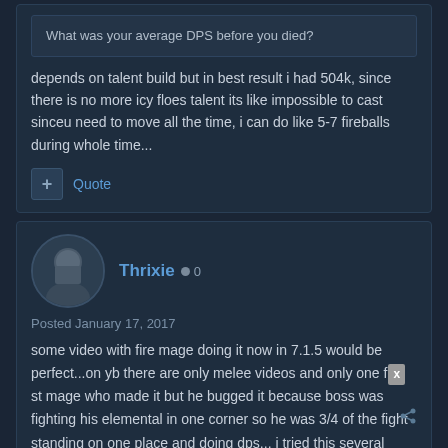What was your average DPS before you died?
depends on talent build but in best result i had 504k, since there is no more icy floes talent its like impossible to cast sinceu need to move all the time, i can do like 5-7 fireballs during whole time...
Quote
Thrixie   0
Posted January 17, 2017
some video with fire mage doing it now in 7.1.5 would be perfect...on yb there are only melee videos and only one fist mage who made it but he bugged it because boss was fighting his elemental in one corner so he was 3/4 of the fight standing on one place and doing dps... i tried this several times and my